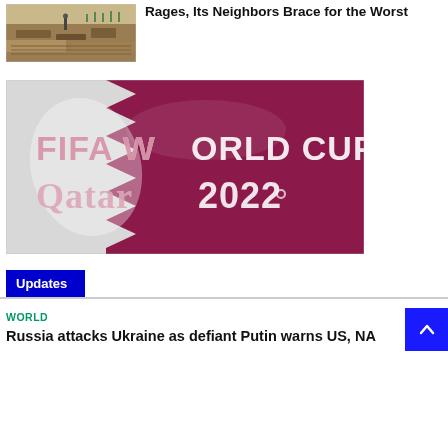[Figure (photo): Aerial or angled view of a dirt/soil excavation site with trenches and a person standing in the background]
Rages, Its Neighbors Brace for the Worst
[Figure (photo): FIFA World Cup Qatar 2022 logo overlaid on a waving Qatar flag (maroon and white)]
Updates
WORLD
Russia attacks Ukraine as defiant Putin warns US, NA...